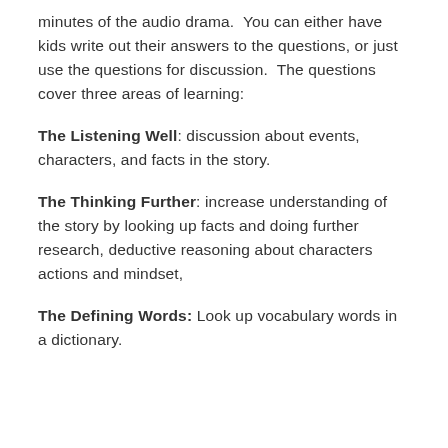minutes of the audio drama.  You can either have kids write out their answers to the questions, or just use the questions for discussion.  The questions cover three areas of learning:
The Listening Well: discussion about events, characters, and facts in the story.
The Thinking Further: increase understanding of the story by looking up facts and doing further research, deductive reasoning about characters actions and mindset,
The Defining Words: Look up vocabulary words in a dictionary.